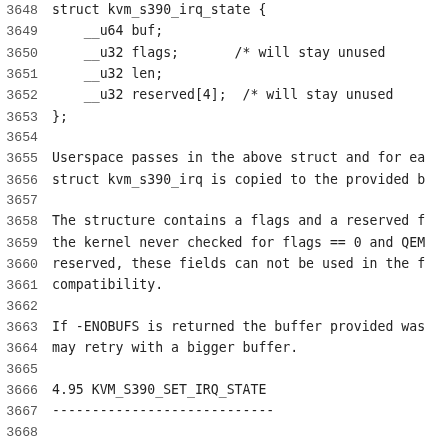3648    struct kvm_s390_irq_state {
3649        __u64 buf;
3650        __u32 flags;       /* will stay unused
3651        __u32 len;
3652        __u32 reserved[4]; /* will stay unused
3653    };
3654
3655    Userspace passes in the above struct and for ea
3656    struct kvm_s390_irq is copied to the provided b
3657
3658    The structure contains a flags and a reserved f
3659    the kernel never checked for flags == 0 and QEM
3660    reserved, these fields can not be used in the f
3661    compatibility.
3662
3663    If -ENOBUFS is returned the buffer provided was
3664    may retry with a bigger buffer.
3665
3666    4.95 KVM_S390_SET_IRQ_STATE
3667    ----------------------------
3668